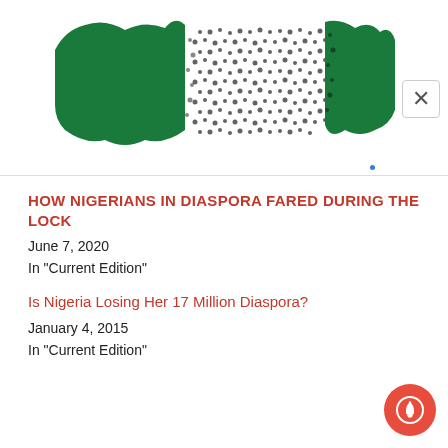[Figure (illustration): Partial image of Nigerian flag map with green and white dotted pattern, cropped at top of page]
HOW NIGERIANS IN DIASPORA FARED DURING THE LOCK
June 7, 2020
In "Current Edition"
Is Nigeria Losing Her 17 Million Diaspora?
January 4, 2015
In "Current Edition"